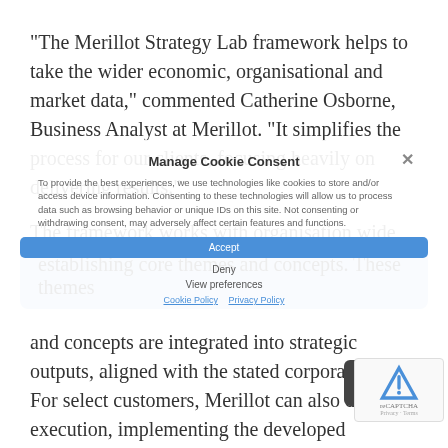“The Merillot Strategy Lab framework helps to take the wider economic, organisational and market data,” commented Catherine Osborne, Business Analyst at Merillot. “It simplifies the process for our clients, focusing heavily on delivering results.”
Manage Cookie Consent
To provide the best experiences, we use technologies like cookies to store and/or access device information. Consenting to these technologies will allow us to process data such as browsing behavior or unique IDs on this site. Not consenting or withdrawing consent, may adversely affect certain features and functions.
The framework works with organisation wide input, establishing core themes and concepts. These themes and concepts are integrated into strategic outputs, aligned with the stated corporate goals. For select customers, Merillot can also deliver execution, implementing the developed strategies and overseeing implementation.
Cookie Policy  Privacy Policy